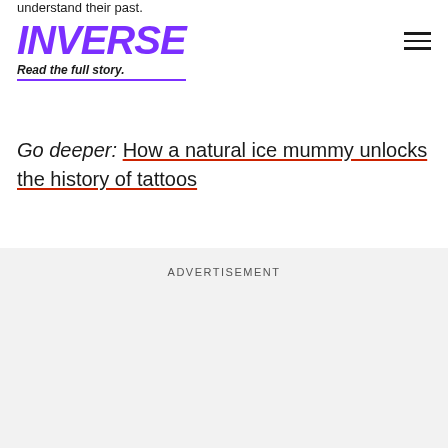understand their past.
INVERSE — Read the full story.
Go deeper: How a natural ice mummy unlocks the history of tattoos
ADVERTISEMENT